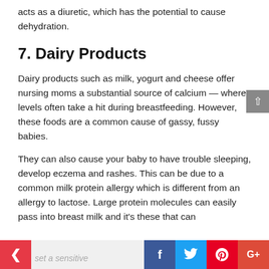acts as a diuretic, which has the potential to cause dehydration.
7. Dairy Products
Dairy products such as milk, yogurt and cheese offer nursing moms a substantial source of calcium — where levels often take a hit during breastfeeding. However, these foods are a common cause of gassy, fussy babies.
They can also cause your baby to have trouble sleeping, develop eczema and rashes. This can be due to a common milk protein allergy which is different from an allergy to lactose. Large protein molecules can easily pass into breast milk and it's these that can
< | f | t | p | G+